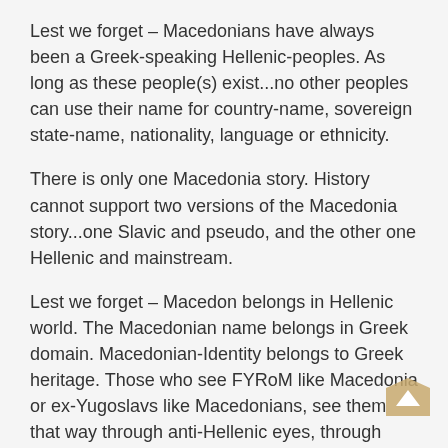Lest we forget – Macedonians have always been a Greek-speaking Hellenic-peoples. As long as these people(s) exist...no other peoples can use their name for country-name, sovereign state-name, nationality, language or ethnicity.
There is only one Macedonia story. History cannot support two versions of the Macedonia story...one Slavic and pseudo, and the other one Hellenic and mainstream.
Lest we forget – Macedon belongs in Hellenic world. The Macedonian name belongs in Greek domain. Macedonian-Identity belongs to Greek heritage. Those who see FYRoM like Macedonia or ex-Yugoslavs like Macedonians, see them that way through anti-Hellenic eyes, through prism of anti-Hellenism.